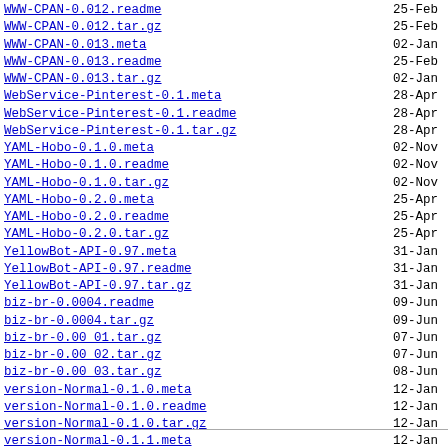WWW-CPAN-0.012.readme  25-Feb
WWW-CPAN-0.012.tar.gz  25-Feb
WWW-CPAN-0.013.meta  02-Jan
WWW-CPAN-0.013.readme  25-Feb
WWW-CPAN-0.013.tar.gz  02-Jan
WebService-Pinterest-0.1.meta  28-Apr
WebService-Pinterest-0.1.readme  28-Apr
WebService-Pinterest-0.1.tar.gz  28-Apr
YAML-Hobo-0.1.0.meta  02-Nov
YAML-Hobo-0.1.0.readme  02-Nov
YAML-Hobo-0.1.0.tar.gz  02-Nov
YAML-Hobo-0.2.0.meta  25-Apr
YAML-Hobo-0.2.0.readme  25-Apr
YAML-Hobo-0.2.0.tar.gz  25-Apr
YellowBot-API-0.97.meta  31-Jan
YellowBot-API-0.97.readme  31-Jan
YellowBot-API-0.97.tar.gz  31-Jan
biz-br-0.0004.readme  09-Jun
biz-br-0.0004.tar.gz  09-Jun
biz-br-0.00 01.tar.gz  07-Jun
biz-br-0.00 02.tar.gz  07-Jun
biz-br-0.00 03.tar.gz  08-Jun
version-Normal-0.1.0.meta  12-Jan
version-Normal-0.1.0.readme  12-Jan
version-Normal-0.1.0.tar.gz  12-Jan
version-Normal-0.1.1.meta  12-Jan
version-Normal-0.1.1.readme  12-Jan
version-Normal-0.1.1.tar.gz  12-Jan